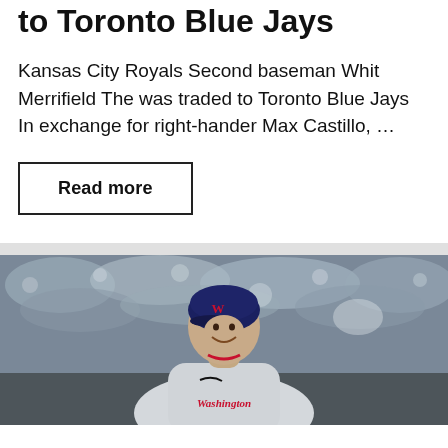to Toronto Blue Jays
Kansas City Royals Second baseman Whit Merrifield The was traded to Toronto Blue Jays In exchange for right-hander Max Castillo, …
Read more
[Figure (photo): A baseball player wearing a Washington Nationals uniform and helmet, smiling, with a crowd in the background.]